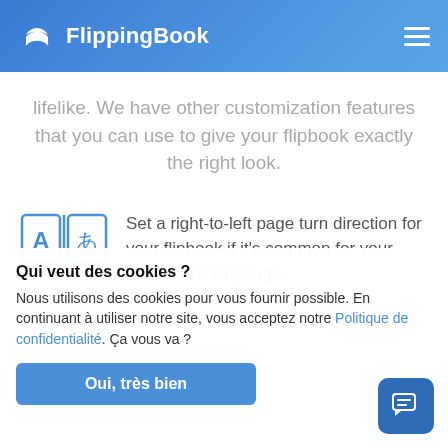FlippingBook
lifelike. We have other customization features that you can use to give your flipbook exactly the right look.
[Figure (illustration): Open book icon with 'A' and Japanese character, indicating right-to-left language support]
Set a right-to-left page turn direction for your flipbook if it's common for your audience's language.
Qui veut des cookies ?
Nous utilisons des cookies pour vous fournir possible. En continuant à utiliser notre site, vous acceptez notre Politique de confidentialité. Ça vous va ?
Oui, très bien